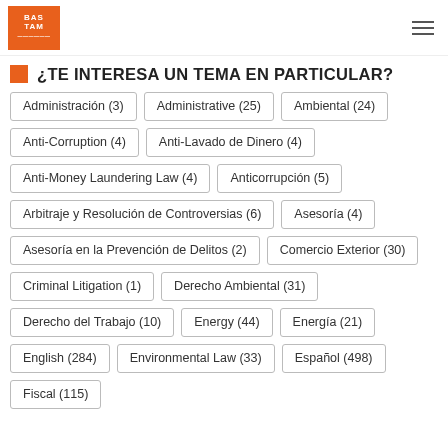BASTIAM
¿TE INTERESA UN TEMA EN PARTICULAR?
Administración (3)
Administrative (25)
Ambiental (24)
Anti-Corruption (4)
Anti-Lavado de Dinero (4)
Anti-Money Laundering Law (4)
Anticorrupción (5)
Arbitraje y Resolución de Controversias (6)
Asesoría (4)
Asesoría en la Prevención de Delitos (2)
Comercio Exterior (30)
Criminal Litigation (1)
Derecho Ambiental (31)
Derecho del Trabajo (10)
Energy (44)
Energía (21)
English (284)
Environmental Law (33)
Español (498)
Fiscal (115)